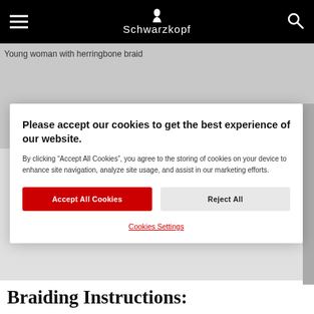Schwarzkopf
[Figure (photo): Young woman with herringbone braid — image alt text shown, image not loaded]
Please accept our cookies to get the best experience of our website.
By clicking “Accept All Cookies”, you agree to the storing of cookies on your device to enhance site navigation, analyze site usage, and assist in our marketing efforts.
Accept All Cookies
Reject All
Cookies Settings
Braiding Instructions: